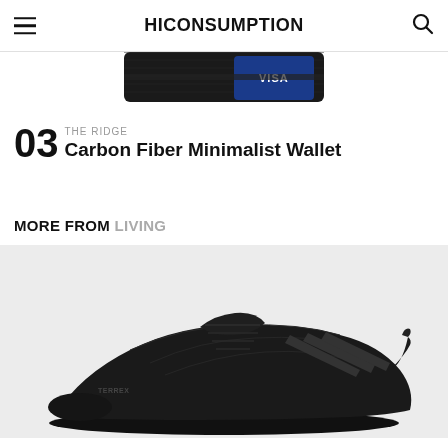HICONSUMPTION
[Figure (photo): Partial top view of a Ridge carbon fiber minimalist wallet with a Visa card visible]
03 THE RIDGE Carbon Fiber Minimalist Wallet
MORE FROM LIVING
[Figure (photo): Black Adidas Terrex athletic trail running shoe on light grey background, side profile view]